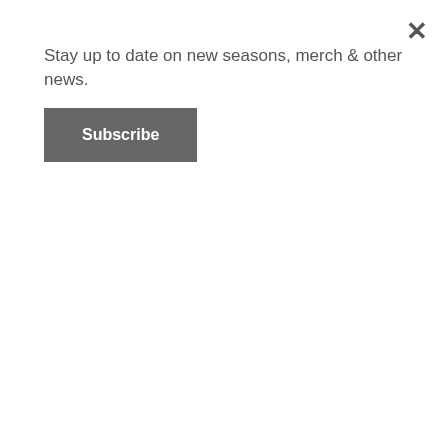Stay up to date on new seasons, merch & other news.
Subscribe
Allegra Susp
Is Allegra Sold Over The Counter
Allegra Pratt Soccer
Allegra Better Zyrtec
Allegra Printing In Glendale Heights Il
Allegra Side Effects Mood Swings
Allegra Publishing Ottawa
Allegras Window
Fexofenadine Pseudo Msn No Prescription Allegra
Allegra Appetite
Children's Adidas Allegra 2
Can You Get High From Allegra
Allegra Walmart Generic
Should I Take Allegra At Night
Prednisone Allegra Interactions
Depression Worsened By Allegra
Allegra Farm East Haddam Ct
Allegra Printing Des Moines Iowa